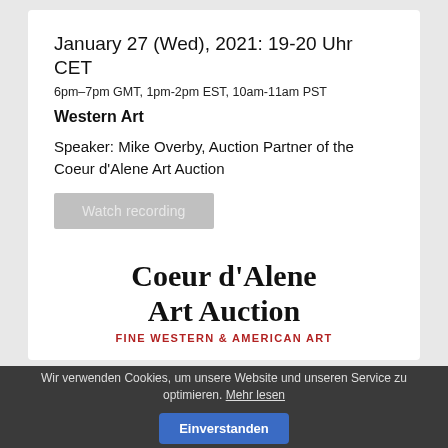January 27 (Wed), 2021: 19-20 Uhr CET
6pm–7pm GMT, 1pm-2pm EST, 10am-11am PST
Western Art
Speaker: Mike Overby, Auction Partner of the Coeur d'Alene Art Auction
Watch recording
[Figure (logo): Coeur d'Alene Art Auction logo with bold serif text and red subtitle 'FINE WESTERN & AMERICAN ART']
Wir verwenden Cookies, um unsere Website und unseren Service zu optimieren. Mehr lesen  Einverstanden